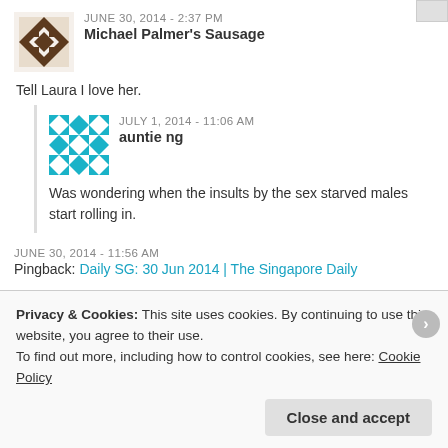JUNE 30, 2014 - 2:37 PM
Michael Palmer's Sausage
Tell Laura I love her.
JULY 1, 2014 - 11:06 AM
auntie ng
Was wondering when the insults by the sex starved males start rolling in.
JUNE 30, 2014 - 11:56 AM
Pingback: Daily SG: 30 Jun 2014 | The Singapore Daily
JUNE 30, 2014 - 3:25 PM
Privacy & Cookies: This site uses cookies. By continuing to use this website, you agree to their use. To find out more, including how to control cookies, see here: Cookie Policy
Close and accept